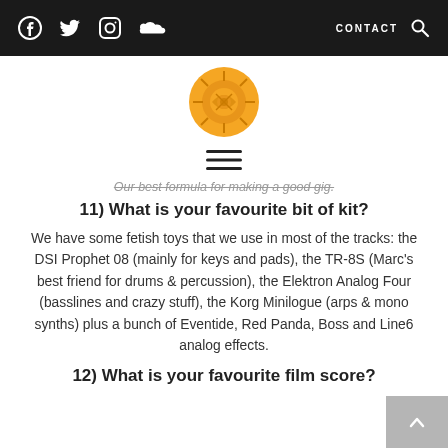Facebook Twitter Instagram SoundCloud | CONTACT Search
[Figure (logo): Circular orange logo with sun/face motif]
[Figure (other): Hamburger menu icon (three horizontal lines)]
Our best formula for making a good gig.
11) What is your favourite bit of kit?
We have some fetish toys that we use in most of the tracks: the DSI Prophet 08 (mainly for keys and pads), the TR-8S (Marc's best friend for drums & percussion), the Elektron Analog Four (basslines and crazy stuff), the Korg Minilogue (arps & mono synths) plus a bunch of Eventide, Red Panda, Boss and Line6 analog effects.
12) What is your favourite film score?